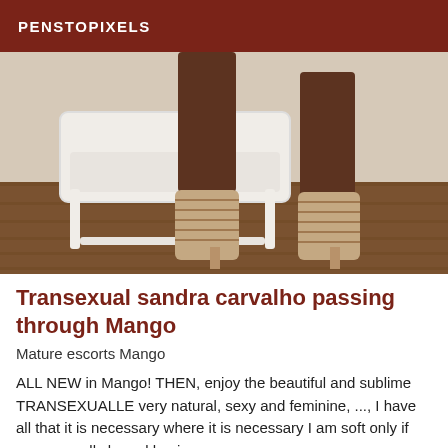PENSTOPIXELS
[Figure (photo): Legs of a person wearing strappy high-heeled sandals standing on a wooden floor next to a white chair]
Transexual sandra carvalho passing through Mango
Mature escorts Mango
ALL NEW in Mango! THEN, enjoy the beautiful and sublime TRANSEXUALLE very natural, sexy and feminine, ..., I have all that it is necessary where it is necessary I am soft only if you are well clean d hygiene